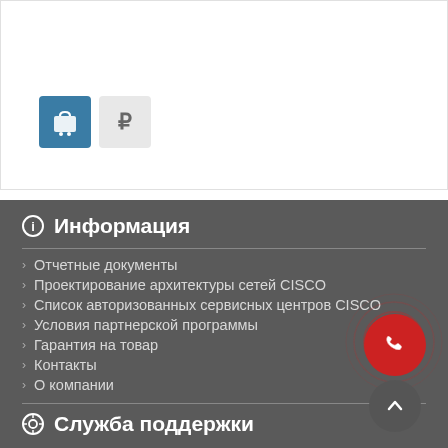[Figure (screenshot): White top section with a teal cart button and a grey ruble price button]
Информация
Отчетные документы
Проектирование архитектуры сетей CISCO
Список авторизованных сервисных центров CISCO
Условия партнерской программы
Гарантия на товар
Контакты
О компании
Служба поддержки
Оплата
Доставка
Гарантия